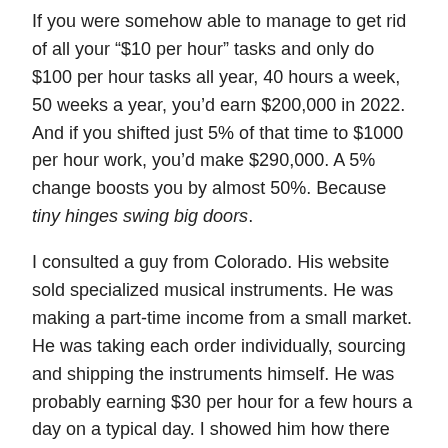If you were somehow able to manage to get rid of all your “$10 per hour” tasks and only do $100 per hour tasks all year, 40 hours a week, 50 weeks a year, you’d earn $200,000 in 2022. And if you shifted just 5% of that time to $1000 per hour work, you’d make $290,000. A 5% change boosts you by almost 50%. Because tiny hinges swing big doors.
I consulted a guy from Colorado. His website sold specialized musical instruments. He was making a part-time income from a small market. He was taking each order individually, sourcing and shipping the instruments himself. He was probably earning $30 per hour for a few hours a day on a typical day. I showed him how there were still a lot of opportunities he wasn’t yet exploiting. His business had the potential to achieve at least 2-5